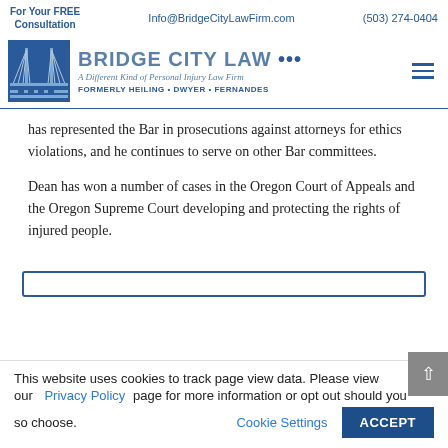For Your FREE Consultation | Info@BridgeCityLawFirm.com | (503) 274-0404
[Figure (logo): Bridge City Law logo with bridge graphic and text: BRIDGE CITY LAW, A Different Kind of Personal Injury Law Firm, FORMERLY HEILING • DWYER • FERNANDES]
has represented the Bar in prosecutions against attorneys for ethics violations, and he continues to serve on other Bar committees.
Dean has won a number of cases in the Oregon Court of Appeals and the Oregon Supreme Court developing and protecting the rights of injured people.
This website uses cookies to track page view data. Please view our Privacy Policy page for more information or opt out should you so choose.
Cookie Settings | ACCEPT